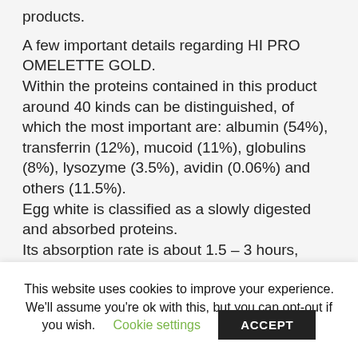products.
A few important details regarding HI PRO OMELETTE GOLD.
Within the proteins contained in this product around 40 kinds can be distinguished, of which the most important are: albumin (54%), transferrin (12%), mucoid (11%), globulins (8%), lysozyme (3.5%), avidin (0.06%) and others (11.5%).
Egg white is classified as a slowly digested and absorbed proteins.
Its absorption rate is about 1.5 – 3 hours,
This website uses cookies to improve your experience. We'll assume you're ok with this, but you can opt-out if you wish. Cookie settings ACCEPT